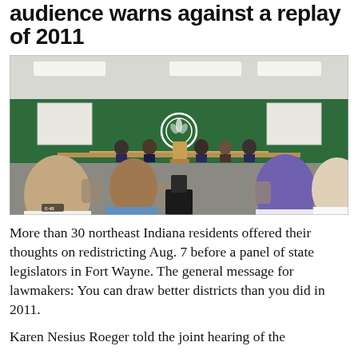audience warns against a replay of 2011
[Figure (photo): A meeting room with audience members seated in chairs facing a panel of state legislators seated at tables in front of a green wall with a white emblem. Projection screens are on either side. The meeting takes place in what appears to be a community or government building.]
More than 30 northeast Indiana residents offered their thoughts on redistricting Aug. 7 before a panel of state legislators in Fort Wayne. The general message for lawmakers: You can draw better districts than you did in 2011.
Karen Nesius Roeger told the joint hearing of the